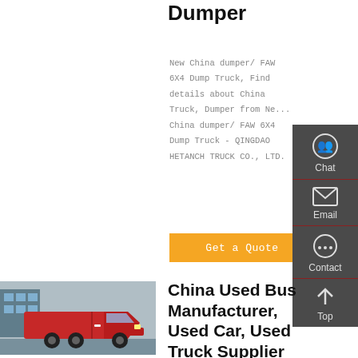Dumper
New China dumper/ FAW 6X4 Dump Truck, Find details about China Truck, Dumper from New China dumper/ FAW 6X4 Dump Truck - QINGDAO HETANCH TRUCK CO., LTD.
[Figure (screenshot): Orange 'Get a Quote' button]
[Figure (photo): Red heavy truck / tractor unit parked in front of a building with blue walls]
China Used Bus Manufacturer, Used Car, Used Truck Supplier